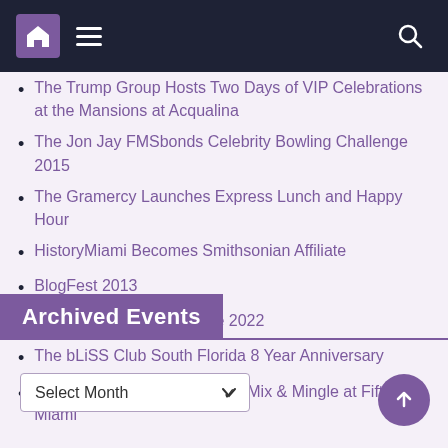Navigation bar with home, menu, and search icons
The Trump Group Hosts Two Days of VIP Celebrations at the Mansions at Acqualina
The Jon Jay FMSbonds Celebrity Bowling Challenge 2015
The Gramercy Launches Express Lunch and Happy Hour
HistoryMiami Becomes Smithsonian Affiliate
BlogFest 2013
Storytime at The Underline 2022
The bLiSS Club South Florida 8 Year Anniversary
Fortune International Realty's Mix & Mingle at Fifty Miami
Archived Events
Select Month